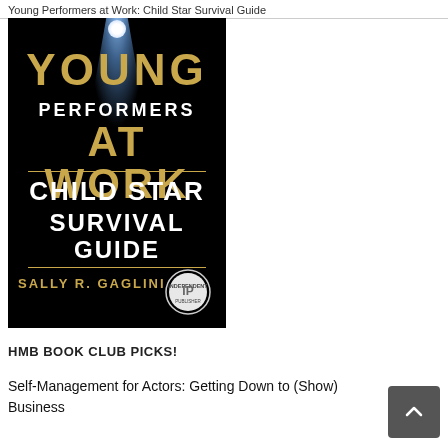Young Performers at Work: Child Star Survival Guide
[Figure (illustration): Book cover for 'Young Performers at Work: Child Star Survival Guide' by Sally R. Gaglini. Dark background with spotlight from above, gold text 'YOUNG' and 'AT WORK', white text 'PERFORMERS', 'CHILD STAR', 'SURVIVAL GUIDE'. Author name in gold. IP award badge on lower right.]
HMB BOOK CLUB PICKS!
Self-Management for Actors: Getting Down to (Show) Business